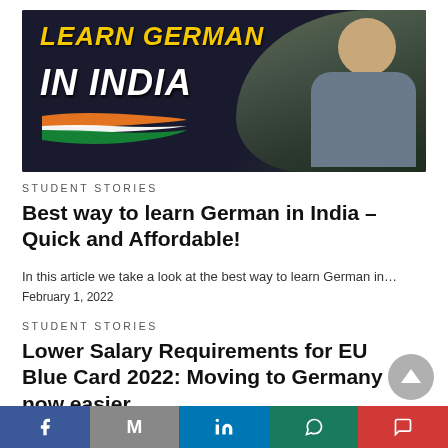[Figure (photo): Banner image with dark background showing text 'LEARN GERMAN IN INDIA' in bold yellow/white italic font with Indian flag swoosh design and a person in plaid shirt with arms crossed on the right side]
Student Stories
Best way to learn German in India – Quick and Affordable!
In this article we take a look at the best way to learn German in…
February 1, 2022
Student Stories
Lower Salary Requirements for EU Blue Card 2022: Moving to Germany is now easier
[Figure (other): Social sharing bar with Facebook, Gmail, LinkedIn, WhatsApp, and Pocket buttons]